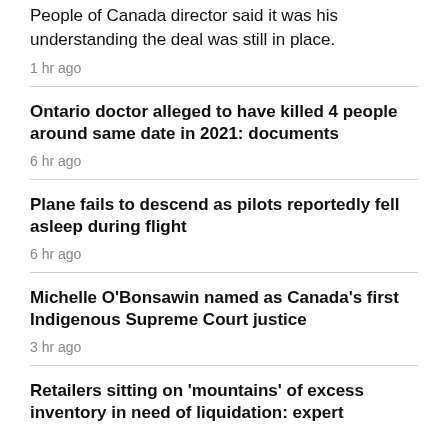People of Canada director said it was his understanding the deal was still in place.
1 hr ago
Ontario doctor alleged to have killed 4 people around same date in 2021: documents
6 hr ago
Plane fails to descend as pilots reportedly fell asleep during flight
6 hr ago
Michelle O'Bonsawin named as Canada's first Indigenous Supreme Court justice
3 hr ago
Retailers sitting on 'mountains' of excess inventory in need of liquidation: expert